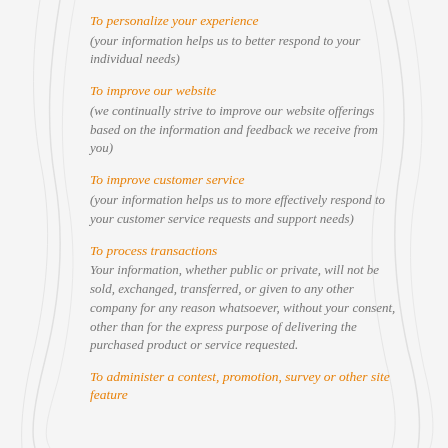To personalize your experience
(your information helps us to better respond to your individual needs)
To improve our website
(we continually strive to improve our website offerings based on the information and feedback we receive from you)
To improve customer service
(your information helps us to more effectively respond to your customer service requests and support needs)
To process transactions
Your information, whether public or private, will not be sold, exchanged, transferred, or given to any other company for any reason whatsoever, without your consent, other than for the express purpose of delivering the purchased product or service requested.
To administer a contest, promotion, survey or other site feature